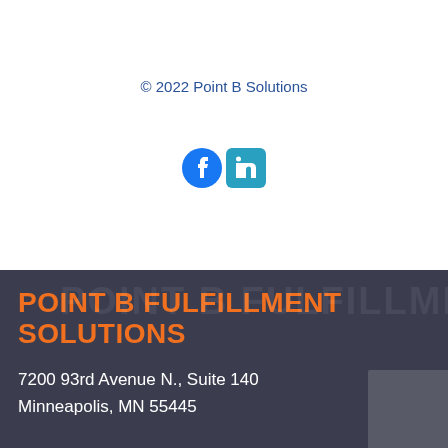© 2022 Point B Solutions
[Figure (illustration): Facebook and LinkedIn social media icons side by side]
POINT B FULFILLMENT SOLUTIONS
7200 93rd Avenue N., Suite 140
Minneapolis, MN 55445